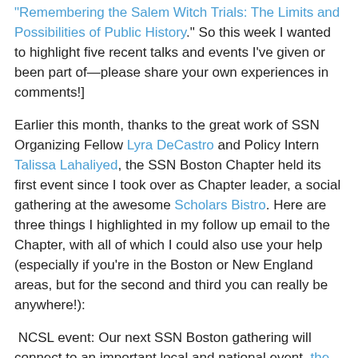“Remembering the Salem Witch Trials: The Limits and Possibilities of Public History.” So this week I wanted to highlight five recent talks and events I’ve given or been part of—please share your own experiences in comments!]
Earlier this month, thanks to the great work of SSN Organizing Fellow Lyra DeCastro and Policy Intern Talissa Lahaliyed, the SSN Boston Chapter held its first event since I took over as Chapter leader, a social gathering at the awesome Scholars Bistro. Here are three things I highlighted in my follow up email to the Chapter, with all of which I could also use your help (especially if you’re in the Boston or New England areas, but for the second and third you can really be anywhere!):
NCSL event: Our next SSN Boston gathering will connect to an important local and national event, the National Conference of State Legislatures’ (NCSL) annual Legislative Summit. The Summit will be held this year at the Boston State House from August 6-9, and on August 7th SSN will host a get-together there (or nearby—exact details forthcoming soon, and I’ll update this space as soon as I